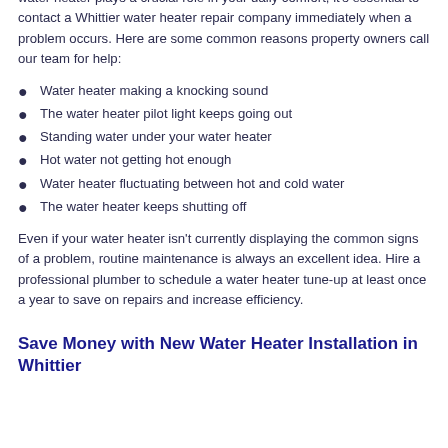water heater plays a crucial role in your daily comfort, it's essential to contact a Whittier water heater repair company immediately when a problem occurs. Here are some common reasons property owners call our team for help:
Water heater making a knocking sound
The water heater pilot light keeps going out
Standing water under your water heater
Hot water not getting hot enough
Water heater fluctuating between hot and cold water
The water heater keeps shutting off
Even if your water heater isn't currently displaying the common signs of a problem, routine maintenance is always an excellent idea. Hire a professional plumber to schedule a water heater tune-up at least once a year to save on repairs and increase efficiency.
Save Money with New Water Heater Installation in Whittier